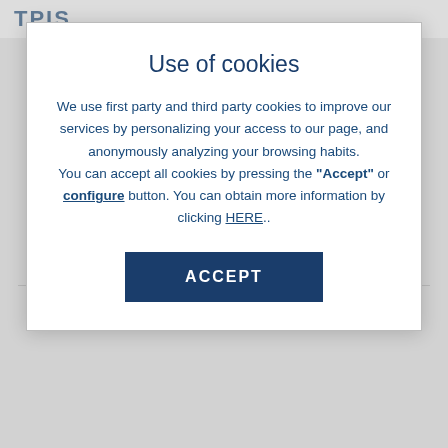Use of cookies
We use first party and third party cookies to improve our services by personalizing your access to our page, and anonymously analyzing your browsing habits. You can accept all cookies by pressing the "Accept" or configure button. You can obtain more information by clicking HERE..
ACCEPT
Not available
RELATED PRODUCTS